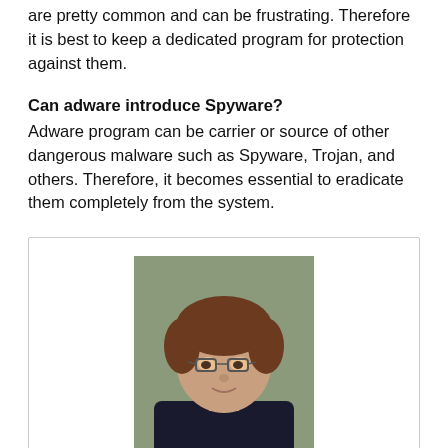are pretty common and can be frustrating. Therefore it is best to keep a dedicated program for protection against them.
Can adware introduce Spyware?
Adware program can be carrier or source of other dangerous malware such as Spyware, Trojan, and others. Therefore, it becomes essential to eradicate them completely from the system.
[Figure (photo): Portrait photo of a middle-aged man with glasses and brown hair]
Peter Gregory